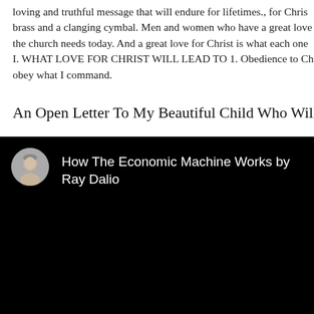loving and truthful message that will endure for lifetimes., for Chris... brass and a clanging cymbal. Men and women who have a great love... the church needs today. And a great love for Christ is what each one... I. WHAT LOVE FOR CHRIST WILL LEAD TO 1. Obedience to Ch... obey what I command.
An Open Letter To My Beautiful Child Who Will Alwa...
[Figure (screenshot): A video thumbnail/embed with a black background. Shows a circular avatar of a man (Ray Dalio) on the left, and white text reading 'How The Economic Machine Works by Ray Dalio' on the right.]